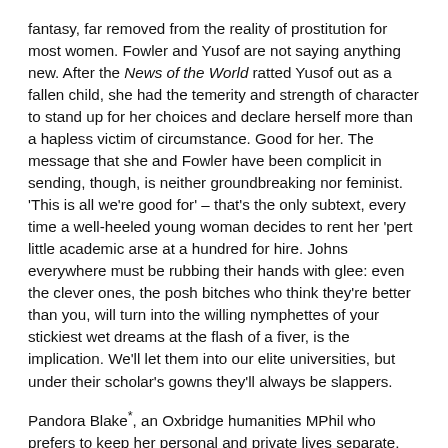fantasy, far removed from the reality of prostitution for most women. Fowler and Yusof are not saying anything new. After the News of the World ratted Yusof out as a fallen child, she had the temerity and strength of character to stand up for her choices and declare herself more than a hapless victim of circumstance. Good for her. The message that she and Fowler have been complicit in sending, though, is neither groundbreaking nor feminist. 'This is all we're good for' – that's the only subtext, every time a well-heeled young woman decides to rent her 'pert little academic arse at a hundred for hire. Johns everywhere must be rubbing their hands with glee: even the clever ones, the posh bitches who think they're better than you, will turn into the willing nymphettes of your stickiest wet dreams at the flash of a fiver, is the implication. We'll let them into our elite universities, but under their scholar's gowns they'll always be slappers.
Pandora Blake*, an Oxbridge humanities MPhil who prefers to keep her personal and private lives separate, became a porn actress and model in her final year. "When I first started out, I